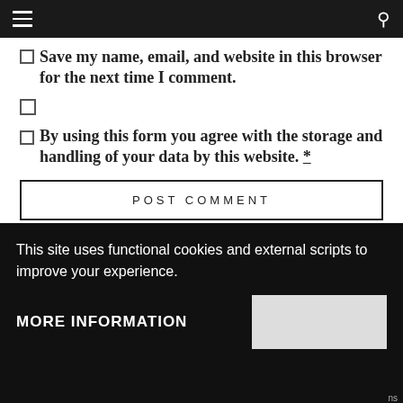navigation header with hamburger menu and search icon
Save my name, email, and website in this browser for the next time I comment.
(checkbox only)
By using this form you agree with the storage and handling of your data by this website. *
POST COMMENT
This site uses functional cookies and external scripts to improve your experience.
MORE INFORMATION